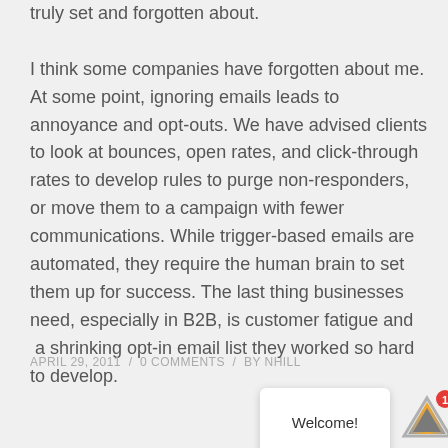truly set and forgotten about.
I think some companies have forgotten about me. At some point, ignoring emails leads to annoyance and opt-outs. We have advised clients to look at bounces, open rates, and click-through rates to develop rules to purge non-responders, or move them to a campaign with fewer communications. While trigger-based emails are automated, they require the human brain to set them up for success. The last thing businesses need, especially in B2B, is customer fatigue and  a shrinking opt-in email list they worked so hard to develop.
APRIL 29, 2011  /  0 COMMENTS  /  BY NHILL
[Figure (other): Welcome notification popup and app icon with badge count of 1]